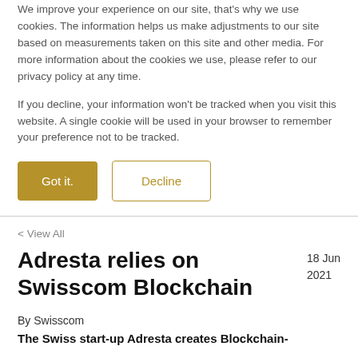We improve your experience on our site, that’s why we use cookies. The information helps us make adjustments to our site based on measurements taken on this site and other media. For more information about the cookies we use, please refer to our privacy policy at any time.
If you decline, your information won’t be tracked when you visit this website. A single cookie will be used in your browser to remember your preference not to be tracked.
Got it. | Decline
< View All
Adresta relies on Swisscom Blockchain
18 Jun 2021
By Swisscom
The Swiss start-up Adresta creates Blockchain-